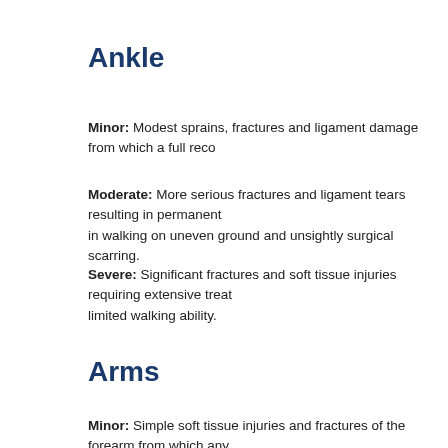Ankle
Minor: Modest sprains, fractures and ligament damage from which a full reco...
Moderate: More serious fractures and ligament tears resulting in permanent... in walking on uneven ground and unsightly surgical scarring.
Severe: Significant fractures and soft tissue injuries requiring extensive treat... limited walking ability.
Arms
Minor: Simple soft tissue injuries and fractures of the forearm from which any...
Moderate: Serious fractures of one or both forearms resulting in significant fu...
Severe: Injuries resulting in amputation or permanent loss of function.